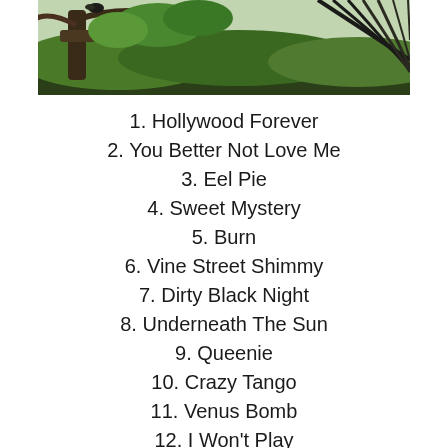[Figure (photo): A photograph of a mossy tree or rocky forest scene with green foliage and dark textures]
1. Hollywood Forever
2. You Better Not Love Me
3. Eel Pie
4. Sweet Mystery
5. Burn
6. Vine Street Shimmy
7. Dirty Black Night
8. Underneath The Sun
9. Queenie
10. Crazy Tango
11. Venus Bomb
12. I Won't Play
13. Requiem (Hollywood Forever)
14. Araña Negra